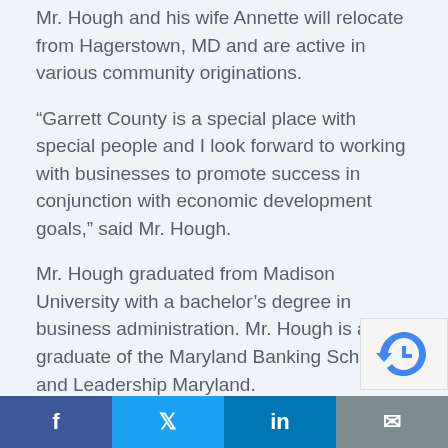Mr. Hough and his wife Annette will relocate from Hagerstown, MD and are active in various community originations.
“Garrett County is a special place with special people and I look forward to working with businesses to promote success in conjunction with economic development goals,” said Mr. Hough.
Mr. Hough graduated from Madison University with a bachelor’s degree in business administration. Mr. Hough is also a graduate of the Maryland Banking School and Leadership Maryland.
“We look forward to Michael joining our team” said Commissioner Edwards. “He is well regarded in our re